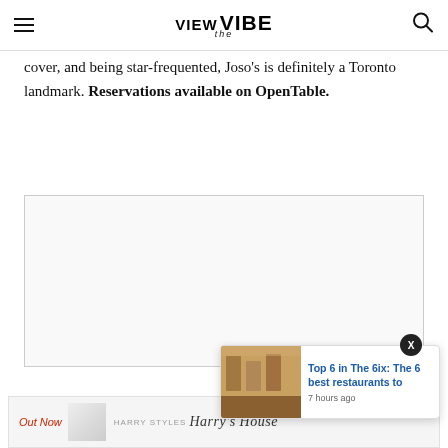VIEW the VIBE
cover, and being star-frequented, Joso's is definitely a Toronto landmark. Reservations available on OpenTable.
[Figure (other): Empty advertisement placeholder box with light gray background and border]
[Figure (other): Popup card showing restaurant interior thumbnail with headline 'Top 6 in The 6ix: The 6 best restaurants to' and timestamp '7 hours ago']
[Figure (other): Advertisement banner for Harry Styles Harry's House album with 'Out Now' text in red italic]